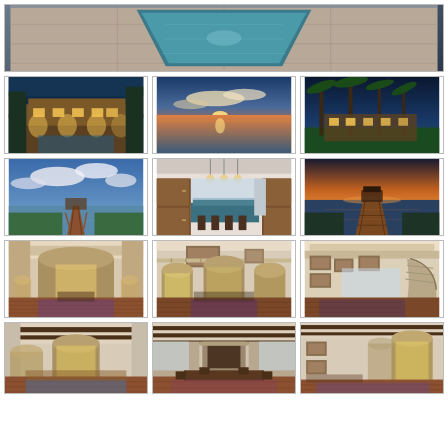[Figure (photo): Aerial view of a luxury pool with stone/travertine deck, infinity pool style, bird's eye perspective]
[Figure (photo): Night exterior of luxury Mediterranean mansion with pool, lit up at dusk]
[Figure (photo): Sunset over a calm lake with dramatic orange and purple sky reflected in water]
[Figure (photo): Twilight view of luxury estate exterior with palm trees and lush green lawn]
[Figure (photo): Dock extending over a lake with dramatic cloudy sky and water reflection]
[Figure (photo): Luxury kitchen interior with island, pendant lights, wooden cabinetry, and large windows]
[Figure (photo): Sunset view from dock over a calm lake with warm orange glow]
[Figure (photo): Grand interior hallway with arched ceilings, stone walls, and hardwood floors]
[Figure (photo): Elegant living room interior with high ceilings, arched doorways, and art on walls]
[Figure (photo): Interior room with curved staircase, balcony, and decorative elements]
[Figure (photo): Living area with beamed ceiling, arched doorways, fireplace and decorative rug]
[Figure (photo): Dining room with beamed ceilings, stone fireplace, and rustic decor]
[Figure (photo): Long hallway with exposed beam ceiling, arched doorways, and bright windows]